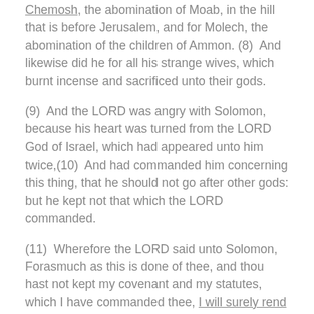Chemosh, the abomination of Moab, in the hill that is before Jerusalem, and for Molech, the abomination of the children of Ammon. (8)  And likewise did he for all his strange wives, which burnt incense and sacrificed unto their gods.
(9)  And the LORD was angry with Solomon, because his heart was turned from the LORD God of Israel, which had appeared unto him twice,(10)  And had commanded him concerning this thing, that he should not go after other gods: but he kept not that which the LORD commanded.
(11)  Wherefore the LORD said unto Solomon, Forasmuch as this is done of thee, and thou hast not kept my covenant and my statutes, which I have commanded thee, I will surely rend the kingdom from thee, and will give it to thy servant.  (12)  Notwithstanding in thy days I will not do it for David